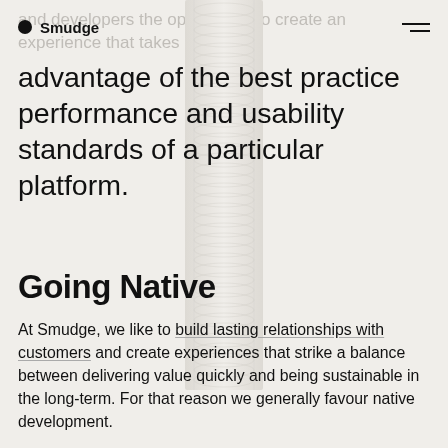Smudge
and developers the opportunity to create an experience that takes
advantage of the best practice performance and usability standards of a particular platform.
[Figure (illustration): Decorative vertical cylindrical tube shape with concentric ring texture, positioned center of page, spanning from top to mid-page]
Going Native
At Smudge, we like to build lasting relationships with customers and create experiences that strike a balance between delivering value quickly and being sustainable in the long-term. For that reason we generally favour native development.